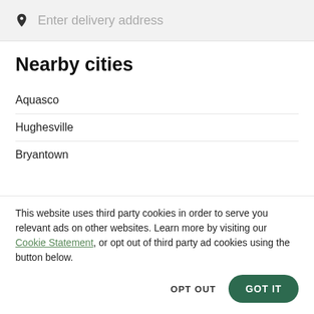Enter delivery address
Nearby cities
Aquasco
Hughesville
Bryantown
This website uses third party cookies in order to serve you relevant ads on other websites. Learn more by visiting our Cookie Statement, or opt out of third party ad cookies using the button below.
OPT OUT  GOT IT